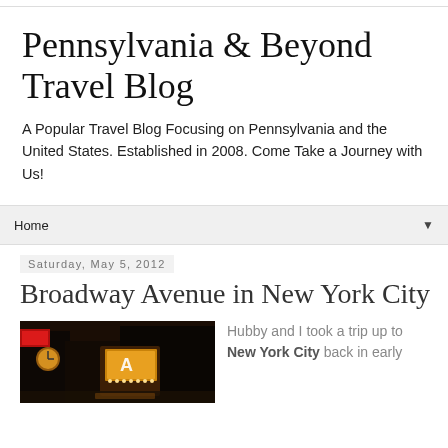Pennsylvania & Beyond Travel Blog
A Popular Travel Blog Focusing on Pennsylvania and the United States. Established in 2008. Come Take a Journey with Us!
Home
Saturday, May 5, 2012
Broadway Avenue in New York City
[Figure (photo): Night photo of Broadway Avenue in New York City showing illuminated signs and marquee lights]
Hubby and I took a trip up to New York City back in early